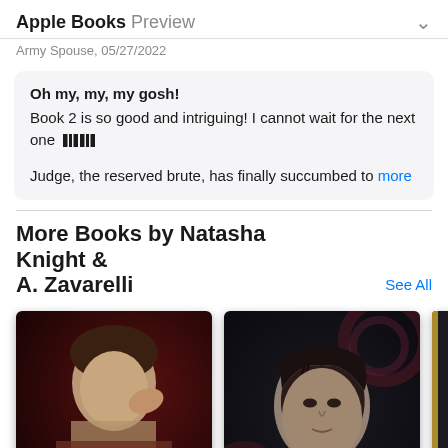Apple Books Preview
Army Spouse, 05/27/2022
Oh my, my, my gosh!
Book 2 is so good and intriguing! I cannot wait for the next one [column icons]
Judge, the reserved brute, has finally succumbed to more
More Books by Natasha Knight & A. Zavarelli
See All
[Figure (photo): Book cover showing a man with tattoos against a dark red background]
[Figure (photo): Book cover showing a man with dark hair against a dark floral background, with text 'Savage Vows' and author name]
[Figure (photo): Partially visible book cover with dark background]